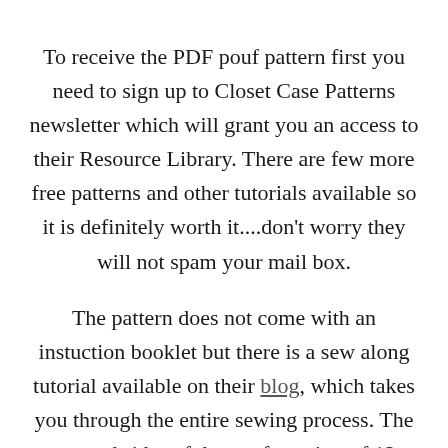To receive the PDF pouf pattern first you need to sign up to Closet Case Patterns newsletter which will grant you an access to their Resource Library. There are few more free patterns and other tutorials available so it is definitely worth it....don’t worry they will not spam your mail box.
The pattern does not come with an instuction booklet but there is a sew along tutorial available on their blog, which takes you through the entire sewing process. The top and sides of the pouf consists of 12 pieces